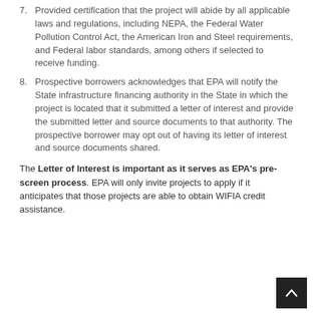7. Provided certification that the project will abide by all applicable laws and regulations, including NEPA, the Federal Water Pollution Control Act, the American Iron and Steel requirements, and Federal labor standards, among others if selected to receive funding.
8. Prospective borrowers acknowledges that EPA will notify the State infrastructure financing authority in the State in which the project is located that it submitted a letter of interest and provide the submitted letter and source documents to that authority. The prospective borrower may opt out of having its letter of interest and source documents shared.
The Letter of Interest is important as it serves as EPA's pre-screen process. EPA will only invite projects to apply if it anticipates that those projects are able to obtain WIFIA credit assistance.